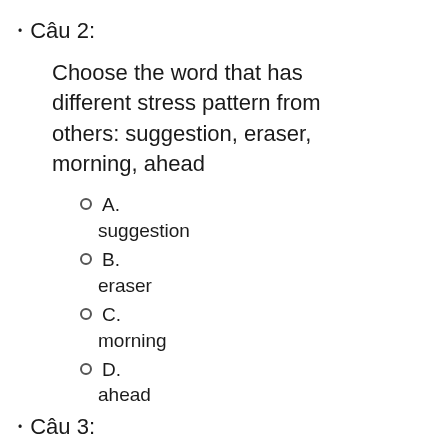Câu 2:
Choose the word that has different stress pattern from others: suggestion, eraser, morning, ahead
A. suggestion
B. eraser
C. morning
D. ahead
Câu 3: